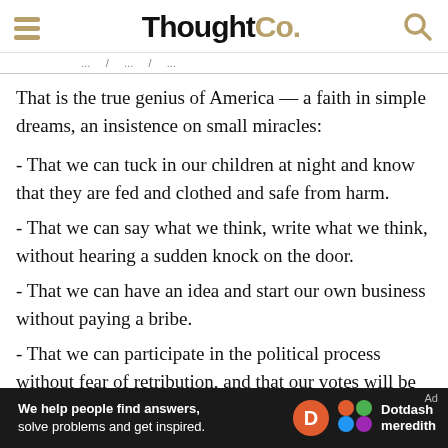ThoughtCo.
That is the true genius of America — a faith in simple dreams, an insistence on small miracles:
- That we can tuck in our children at night and know that they are fed and clothed and safe from harm.
- That we can say what we think, write what we think, without hearing a sudden knock on the door.
- That we can have an idea and start our own business without paying a bribe.
- That we can participate in the political process without fear of retribution, and that our votes will be counted at least, most of the time…